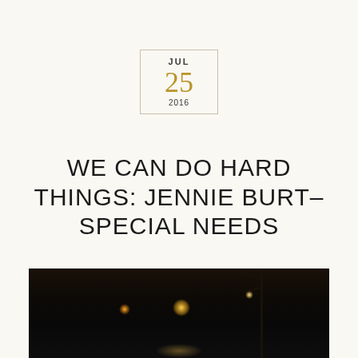JUL 25 2016
WE CAN DO HARD THINGS: JENNIE BURT– SPECIAL NEEDS
[Figure (photo): Dark nighttime photo showing tree silhouettes against a dark sky with warm glowing lights in the background]